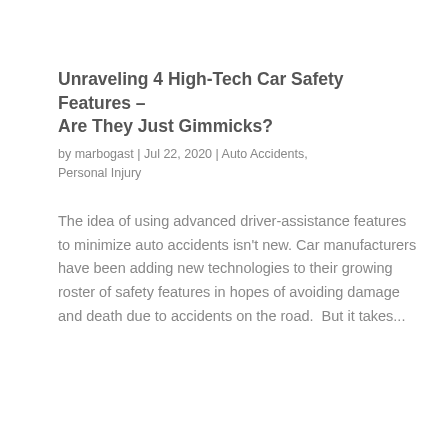Unraveling 4 High-Tech Car Safety Features – Are They Just Gimmicks?
by marbogast | Jul 22, 2020 | Auto Accidents, Personal Injury
The idea of using advanced driver-assistance features to minimize auto accidents isn't new. Car manufacturers have been adding new technologies to their growing roster of safety features in hopes of avoiding damage and death due to accidents on the road.  But it takes...